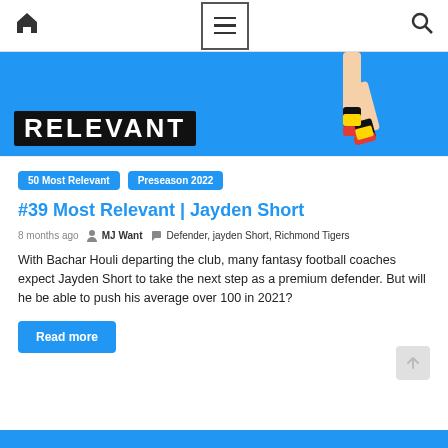Navigation bar with home icon, menu icon, and search icon
[Figure (photo): Blue banner with large white bold text 'RELEVANT' and a runner's legs in athletic wear on the right side]
50 Most Relevant  Preseason 2022
#39 Most Relevant | Jayden Short
8 months ago  MJ Want  Defender, jayden Short, Richmond Tigers
With Bachar Houli departing the club, many fantasy football coaches expect Jayden Short to take the next step as a premium defender. But will he be able to push his average over 100 in 2021?
Read more